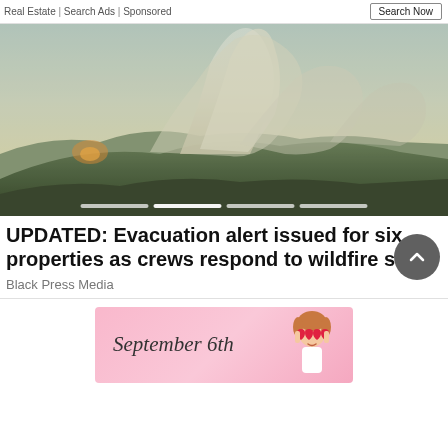Real Estate | Search Ads | Sponsored
[Figure (photo): Aerial photo of a wildfire on a forested mountain ridge with large smoke plumes rising into a hazy sky]
UPDATED: Evacuation alert issued for six properties as crews respond to wildfire sou...
Black Press Media
[Figure (infographic): Pink advertisement banner reading 'September 6th' with a girl wearing red heart-shaped sunglasses]